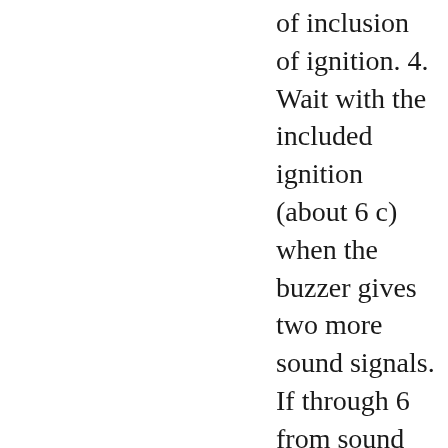of inclusion of ignition. 4. Wait with the included ignition (about 6 c) when the buzzer gives two more sound signals. If through 6 from sound signals is